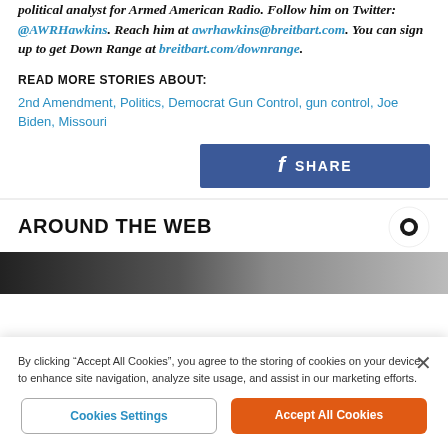political analyst for Armed American Radio. Follow him on Twitter: @AWRHawkins. Reach him at awrhawkins@breitbart.com. You can sign up to get Down Range at breitbart.com/downrange.
READ MORE STORIES ABOUT:
2nd Amendment, Politics, Democrat Gun Control, gun control, Joe Biden, Missouri
[Figure (other): Facebook Share button with blue background]
AROUND THE WEB
[Figure (other): Dark image strip / article thumbnail]
By clicking "Accept All Cookies", you agree to the storing of cookies on your device to enhance site navigation, analyze site usage, and assist in our marketing efforts.
Cookies Settings | Accept All Cookies